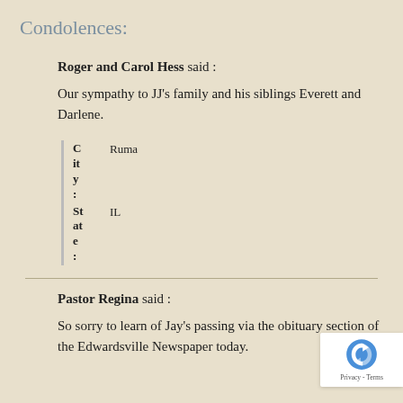Condolences:
Roger and Carol Hess said :
Our sympathy to JJ's family and his siblings Everett and Darlene.
| City: | State: |
| --- | --- |
| Ruma | IL |
Pastor Regina said :
So sorry to learn of Jay's passing via the obituary section of the Edwardsville Newspaper today.